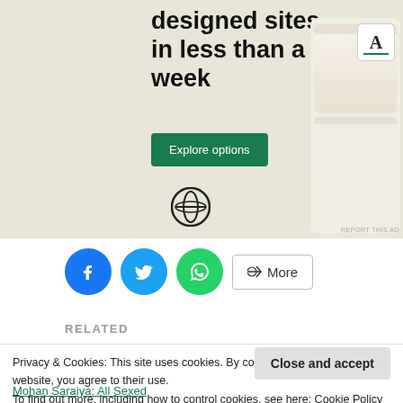[Figure (screenshot): WordPress advertisement banner with beige background showing text 'designed sites in less than a week', a green 'Explore options' button, WordPress logo, and phone mockup showing website designs]
REPORT THIS AD
[Figure (infographic): Social share buttons row: Facebook (blue circle), Twitter (light blue circle), WhatsApp (green circle), and a 'More' button with share icon]
RELATED
Privacy & Cookies: This site uses cookies. By continuing to use this website, you agree to their use.
To find out more, including how to control cookies, see here: Cookie Policy
Close and accept
Mohan Saraiya: All Sexed